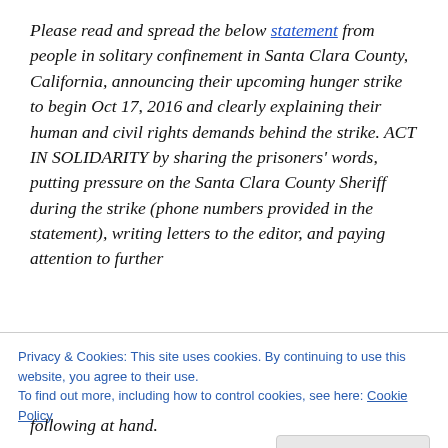Please read and spread the below statement from people in solitary confinement in Santa Clara County, California, announcing their upcoming hunger strike to begin Oct 17, 2016 and clearly explaining their human and civil rights demands behind the strike. ACT IN SOLIDARITY by sharing the prisoners' words, putting pressure on the Santa Clara County Sheriff during the strike (phone numbers provided in the statement), writing letters to the editor, and paying attention to further
Privacy & Cookies: This site uses cookies. By continuing to use this website, you agree to their use.
To find out more, including how to control cookies, see here: Cookie Policy
following at hand.